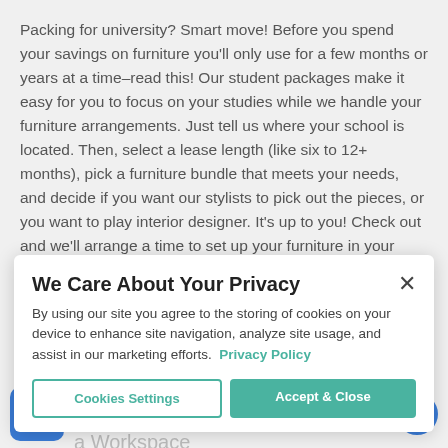Packing for university? Smart move! Before you spend your savings on furniture you'll only use for a few months or years at a time–read this! Our student packages make it easy for you to focus on your studies while we handle your furniture arrangements. Just tell us where your school is located. Then, select a lease length (like six to 12+ months), pick a furniture bundle that meets your needs, and decide if you want our stylists to pick out the pieces, or you want to play interior designer. It's up to you! Check out and we'll arrange a time to set up your furniture in your apartment. You don't have to lift a finger. (Just open the door!) We'll even pick up everything when your rental period is over. Our student furniture packages are designed for speed and style. They include a full apartment with a living and dining room, or just your bedroom essentials. Now you can be smart and stylish. Our flexible plans and student discounts make it simple for you to rent what you need for college in California or elsewhere. Starting at $109 per month for a 12-month lease.
We Care About Your Privacy
By using our site you agree to the storing of cookies on your device to enhance site navigation, analyze site usage, and assist in our marketing efforts. Privacy Policy
Cookies Settings   Accept & Close
t Office Essentials Ne... 2021 Reinven a Workspace